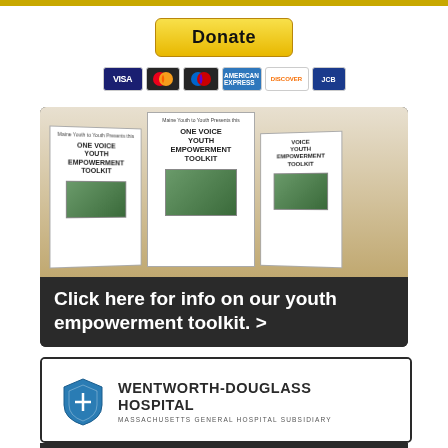[Figure (other): PayPal Donate button with payment card icons (Visa, Mastercard, Maestro, Amex, Discover, and another card)]
[Figure (photo): Photo of three copies of the One Voice Youth Empowerment Toolkit booklets standing upright]
Click here for info on our youth empowerment toolkit. >
[Figure (logo): Wentworth-Douglass Hospital logo with shield icon and text: WENTWORTH-DOUGLASS HOSPITAL, Massachusetts General Hospital Subsidiary]
We thank Wentworth-Douglass Hospital for their ongoing financial support of...